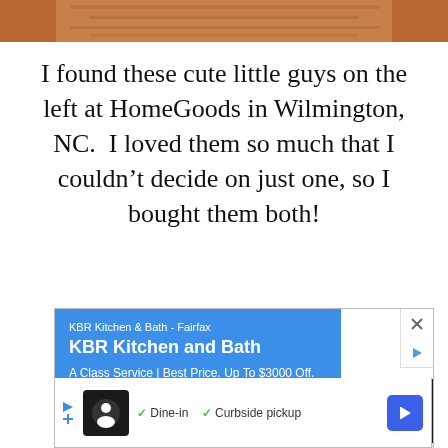[Figure (photo): Partial photo of wooden cabinet doors or furniture panel in warm brown/orange tones, cropped to show only the top portion]
I found these cute little guys on the left at HomeGoods in Wilmington, NC.  I loved them so much that I couldn't decide on just one, so I bought them both!
[Figure (screenshot): Screenshot of a Google Maps advertisement for KBR Kitchen & Bath - Fairfax, showing a blue overlay ad card with KBR Kitchen and Bath text, 'A Class Service | Best Price. Up To $3000 Off. Limited Time.' and a partial map view below with a location pin. A black scroll-to-top button is visible on the right. A second bottom ad strip shows Dine-in and Curbside pickup options.]